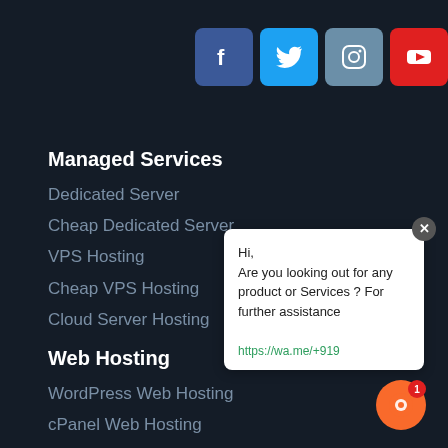[Figure (infographic): Social media icons row: Facebook (dark blue), Twitter (light blue), Instagram (grey-blue), YouTube (red), LinkedIn (blue)]
Managed Services
Dedicated Server
Cheap Dedicated Server
VPS Hosting
Cheap VPS Hosting
Cloud Server Hosting
Web Hosting
WordPress Web Hosting
cPanel Web Hosting
Linux Web Hosting
Hi, Are you looking out for any product or Services ? For further assistance https://wa.me/+919